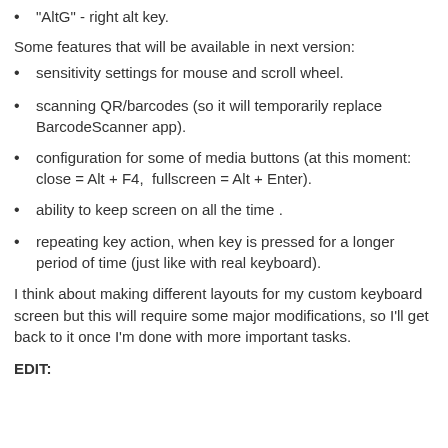"AltG" - right alt key.
Some features that will be available in next version:
sensitivity settings for mouse and scroll wheel.
scanning QR/barcodes (so it will temporarily replace BarcodeScanner app).
configuration for some of media buttons (at this moment: close = Alt + F4,  fullscreen = Alt + Enter).
ability to keep screen on all the time .
repeating key action, when key is pressed for a longer period of time (just like with real keyboard).
I think about making different layouts for my custom keyboard screen but this will require some major modifications, so I'll get back to it once I'm done with more important tasks.
EDIT: